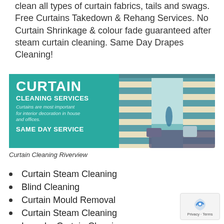clean all types of curtain fabrics, tails and swags. Free Curtains Takedown & Rehang Services. No Curtain Shrinkage & colour fade guaranteed after steam curtain cleaning. Same Day Drapes Cleaning!
[Figure (illustration): Curtain Cleaning Services promotional banner with teal background on the left showing 'CURTAIN CLEANING SERVICES' text and 'SAME DAY SERVICE', and a photo of blue and white striped curtains on the right.]
Curtain Cleaning Riverview
Curtain Steam Cleaning
Blind Cleaning
Curtain Mould Removal
Curtain Steam Cleaning
Laundry Curtain Cleaning